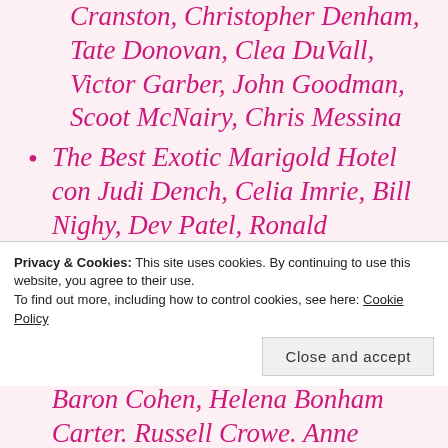Cranston, Christopher Denham, Tate Donovan, Clea DuVall, Victor Garber, John Goodman, Scoot McNairy, Chris Messina
The Best Exotic Marigold Hotel con Judi Dench, Celia Imrie, Bill Nighy, Dev Patel, Ronald Pickup, Maggie Smith, Tom Wilkinson, Penelope Wilton
Les Misérables con Isabelle Allen, Samantha Barks, Sacha Baron Cohen, Helena Bonham Carter. Russell Crowe. Anne
Privacy & Cookies: This site uses cookies. By continuing to use this website, you agree to their use.
To find out more, including how to control cookies, see here: Cookie Policy
Close and accept